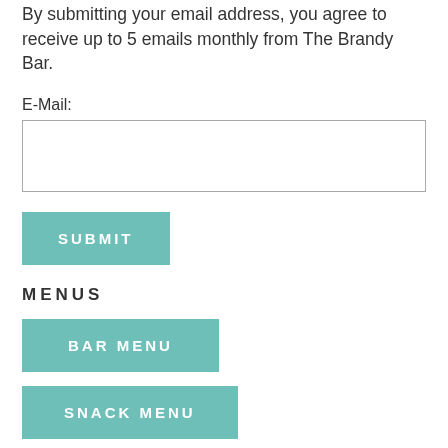By submitting your email address, you agree to receive up to 5 emails monthly from The Brandy Bar.
E-Mail:
SUBMIT
MENUS
BAR MENU
SNACK MENU